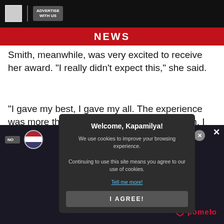NEWS
Smith, meanwhile, was very excited to receive her award. "I really didn't expect this," she said.
"I gave my best, I gave my all. The experience was more than I wanted. Thank you so much, I am looking forward to more projects at Cinemalaya."
There wer ... wcase" category, w ... w Breed" category. T ... in this year's Cine ...
[Figure (screenshot): Cookie consent popup overlay with title 'Welcome, Kapamilya!', cookie usage message, 'Tell me more!' link, and 'I AGREE!' button]
[Figure (screenshot): Bottom advertisement banner with Pomelo branding, US flag icon, X close buttons, and text 'Applies to first $500 spent in 45 days for new customers.']